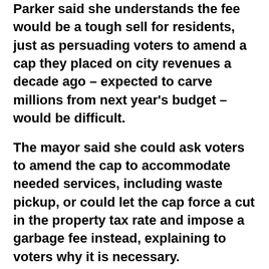Parker said she understands the fee would be a tough sell for residents, just as persuading voters to amend a cap they placed on city revenues a decade ago – expected to carve millions from next year's budget – would be difficult.
The mayor said she could ask voters to amend the cap to accommodate needed services, including waste pickup, or could let the cap force a cut in the property tax rate and impose a garbage fee instead, explaining to voters why it is necessary.
“I’ve been successful having those conversations on water-sewer rates, on streets and drainage, and now I’m going to have a conversation about this area, too,” Parker said, referencing a 2010 water rate increase and the drainage fee imposed by the voter-approved ReBuild Houston program. “We’re going to lay all that